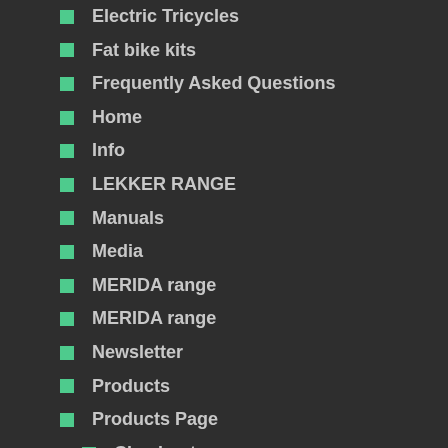Electric Tricycles
Fat bike kits
Frequently Asked Questions
Home
Info
LEKKER RANGE
Manuals
Media
MERIDA range
MERIDA range
Newsletter
Products
Products Page
Checkout